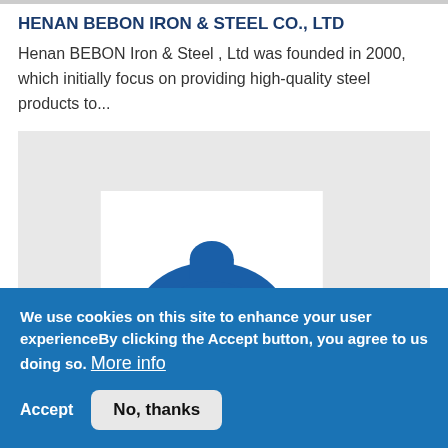HENAN BEBON IRON & STEEL CO., LTD
Henan BEBON Iron & Steel , Ltd was founded in 2000, which initially focus on providing high-quality steel products to...
[Figure (illustration): A grey placeholder image area with a partial blue circular logo or emblem visible at the bottom center]
We use cookies on this site to enhance your user experienceBy clicking the Accept button, you agree to us doing so. More info
Accept   No, thanks